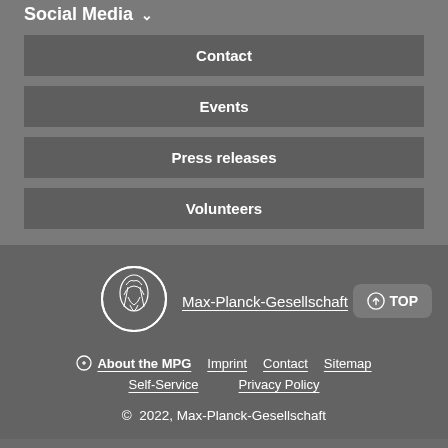Social Media
Contact
Events
Press releases
Volunteers
[Figure (logo): Max-Planck-Gesellschaft circular logo with Minerva figure]
Max-Planck-Gesellschaft
About the MPG | Imprint | Contact | Sitemap | Self-Service | Privacy Policy
© 2022, Max-Planck-Gesellschaft